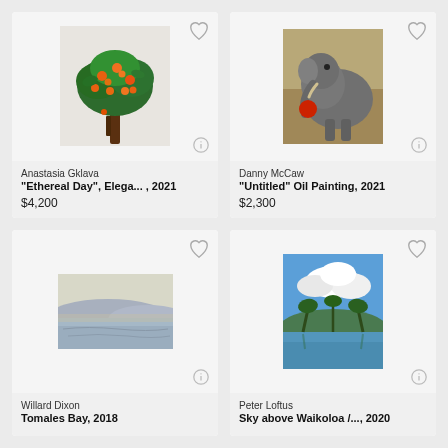[Figure (illustration): Painting of an orange fruit tree with lush green foliage and oranges on a light grey background]
Anastasia Gklava
"Ethereal Day", Elega... , 2021
$4,200
[Figure (illustration): Oil painting of an elephant with a person, muted earth tones]
Danny McCaw
"Untitled" Oil Painting, 2021
$2,300
[Figure (illustration): Painting of Tomales Bay landscape with soft pastel colours, water and hills]
Willard Dixon
Tomales Bay, 2018
[Figure (illustration): Painting of tropical sky above Waikoloa with blue sky, clouds, palm trees and water reflection]
Peter Loftus
Sky above Waikoloa /..., 2020